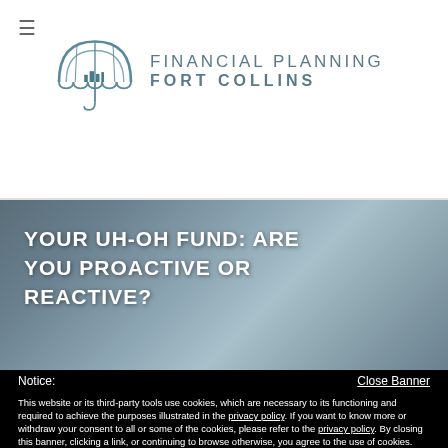Financial Planning Fort Collins
YOUR UH-OH FUND: ARE YOU PROACTIVE OR REACTIVE?
Notice:
Close Banner
This website or its third-party tools use cookies, which are necessary to its functioning and required to achieve the purposes illustrated in the privacy policy. If you want to know more or withdraw your consent to all or some of the cookies, please refer to the privacy policy.
By closing this banner, clicking a link, or continuing to browse otherwise, you agree to the use of cookies.